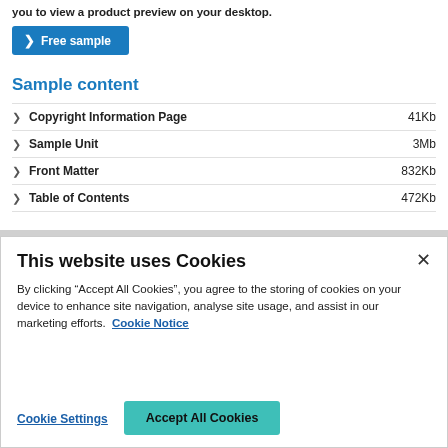you to view a product preview on your desktop.
Free sample
Sample content
Copyright Information Page  41Kb
Sample Unit  3Mb
Front Matter  832Kb
Table of Contents  472Kb
This website uses Cookies
By clicking “Accept All Cookies”, you agree to the storing of cookies on your device to enhance site navigation, analyse site usage, and assist in our marketing efforts. Cookie Notice
Cookie Settings
Accept All Cookies